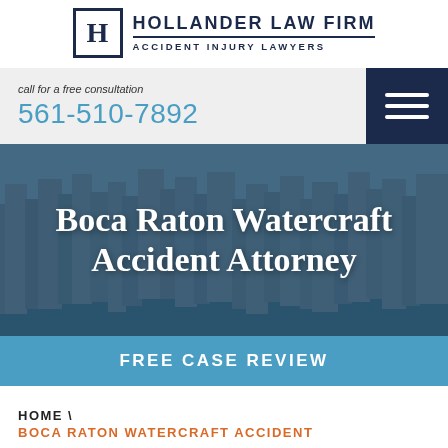[Figure (logo): Hollander Law Firm logo with H in a box and firm name text]
call for a free consultation
561-510-7892
[Figure (photo): Aerial city/waterfront background image for Boca Raton hero section]
Boca Raton Watercraft Accident Attorney
FREE CASE REVIEW
HOME \
BOCA RATON WATERCRAFT ACCIDENT